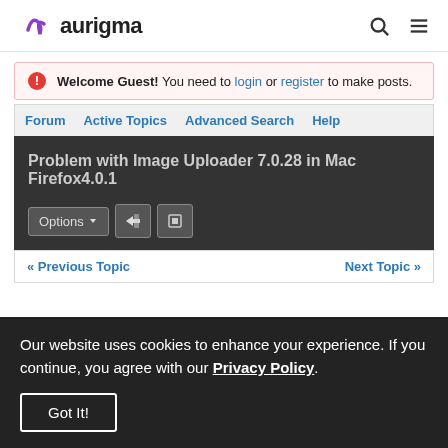aurigma
Welcome Guest! You need to login or register to make posts.
Forum  Active Topics  Advanced Search  Help
Problem with Image Uploader 7.0.28 in Mac Firefox4.0.1
Options
« Previous Topic   Next Topic »
Our website uses cookies to enhance your experience. If you continue, you agree with our Privacy Policy.
Got It!